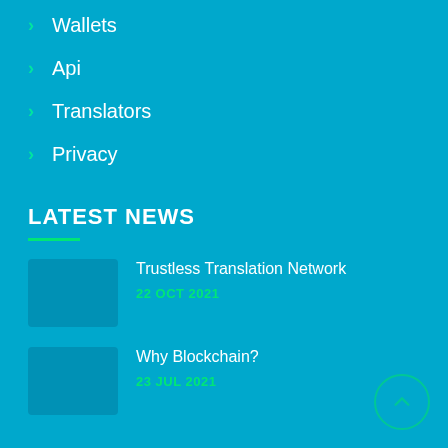Wallets
Api
Translators
Privacy
LATEST NEWS
Trustless Translation Network
22 OCT 2021
Why Blockchain?
23 JUL 2021